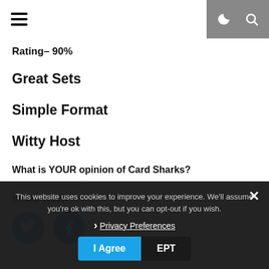Rating– 90%
Great Sets
Simple Format
Witty Host
What is YOUR opinion of Card Sharks?
Share this:
[Figure (other): Twitter and Facebook share buttons (blue circular icons)]
This website uses cookies to improve your experience. We'll assume you're ok with this, but you can opt-out if you wish.
Privacy Preferences
I Agree
EPT